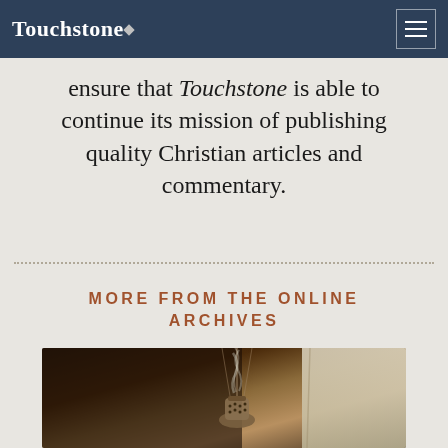Touchstone
ensure that Touchstone is able to continue its mission of publishing quality Christian articles and commentary.
MORE FROM THE ONLINE ARCHIVES
[Figure (photo): Close-up photograph of a thurible (incense burner) with smoke, with white fabric/vestment visible on right side, warm sepia tones.]